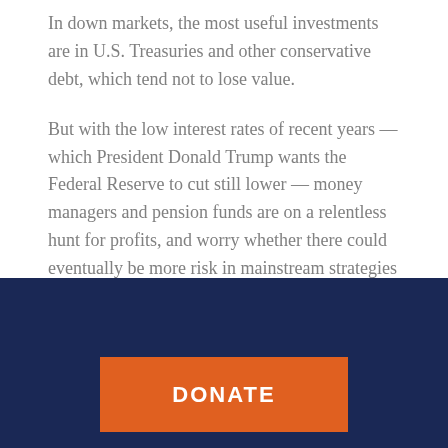In down markets, the most useful investments are in U.S. Treasuries and other conservative debt, which tend not to lose value.
But with the low interest rates of recent years — which President Donald Trump wants the Federal Reserve to cut still lower — money managers and pension funds are on a relentless hunt for profits, and worry whether there could eventually be more risk in mainstream strategies such as stock indexing, in a market downturn.
[Figure (other): Dark navy blue footer bar with an orange DONATE button]